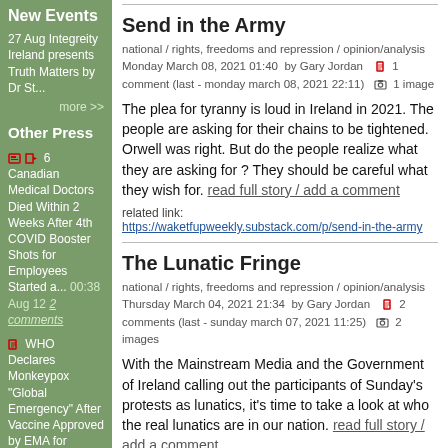New Events
27 Aug Integreity Ireland presents Truth Matters by Dr St...
more >>
Other Press
6 Canadian Medical Doctors Died Within 2 Weeks After 4th COVID Booster Shots for Employees Started a... 00:38 Aug 12 2 comments
WHO Declares Monkeypox "Global Emergency" After Vaccine Approved by EMA for Europe - Outbreaks are O... 21:57 Jul 27 1
Send in the Army
national / rights, freedoms and repression / opinion/analysis  Monday March 08, 2021 01:40  by Gary Jordan    1 comment (last - monday march 08, 2021 22:11)    1 image
The plea for tyranny is loud in Ireland in 2021. The people are asking for their chains to be tightened. Orwell was right. But do the people realize what they are asking for ? They should be careful what they wish for. read full story / add a comment
related link:
https://waketfupweekly.substack.com/p/send-in-the-army
The Lunatic Fringe
national / rights, freedoms and repression / opinion/analysis  Thursday March 04, 2021 21:34  by Gary Jordan    2 comments (last - sunday march 07, 2021 11:25)    2 images
With the Mainstream Media and the Government of Ireland calling out the participants of Sunday's protests as lunatics, it's time to take a look at who the real lunatics are in our nation. read full story / add a comment
related link: